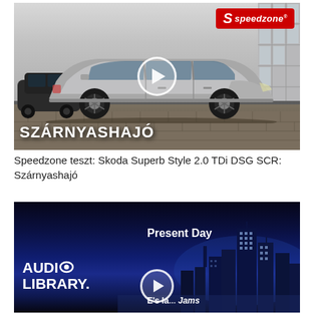[Figure (screenshot): Video thumbnail showing a silver Skoda Superb car parked in front of a building, with a Speedzone logo in the top right corner (red background, white text), a play button overlay in the center, and bold white text 'SZÁRNYASHAJÓ' at the bottom left.]
Speedzone teszt: Skoda Superb Style 2.0 TDi DSG SCR: Szárnyashajó
[Figure (screenshot): Video thumbnail showing a city skyline at night with blue tones, 'AUDIO LIBRARY' text on the left with a circular eye icon, 'Present Day' text in the center, a play button overlay, and partial text 'E's la... Jams' at the bottom.]